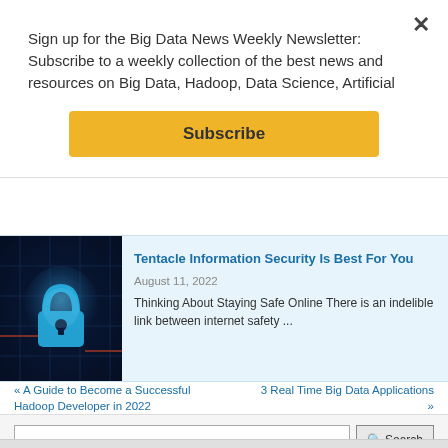Sign up for the Big Data News Weekly Newsletter: Subscribe to a weekly collection of the best news and resources on Big Data, Hadoop, Data Science, Artificial
Subscribe
×
[Figure (photo): Cybersecurity image with a glowing blue padlock circuit board]
Tentacle Information Security Is Best For You
August 11, 2022
Thinking About Staying Safe Online There is an indelible link between internet safety ...
« A Guide to Become a Successful Hadoop Developer in 2022
3 Real Time Big Data Applications »
🔍 Search